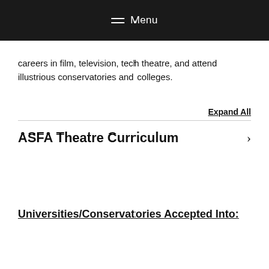Menu
careers in film, television, tech theatre, and attend illustrious conservatories and colleges.
Expand All
ASFA Theatre Curriculum
Universities/Conservatories Accepted Into: